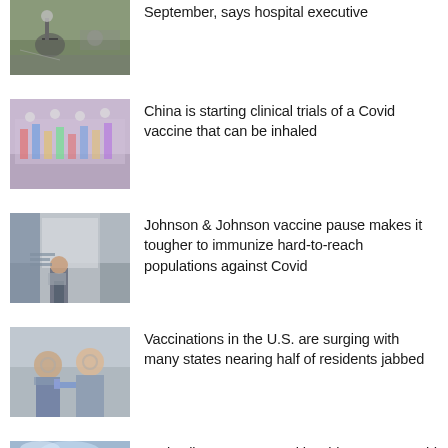[Figure (photo): Person on bicycle in rainy street scene]
September, says hospital executive
[Figure (photo): Large indoor gathering/vaccination event with people in masks]
China is starting clinical trials of a Covid vaccine that can be inhaled
[Figure (photo): Person holding a sign outside a building]
Johnson & Johnson vaccine pause makes it tougher to immunize hard-to-reach populations against Covid
[Figure (photo): Two people in masks, one receiving a vaccine injection]
Vaccinations in the U.S. are surging with many states nearing half of residents jabbed
[Figure (photo): Cruise ship at sea with blue sky]
Cruise line CEOs met with White House Covid team, pressed for U.S. sailings to resume, sources say